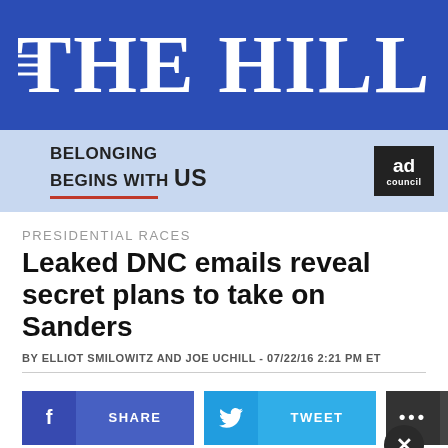THE HILL
[Figure (advertisement): Ad Council banner: BELONGING BEGINS WITH US, with red underline and ad council logo]
PRESIDENTIAL RACES
Leaked DNC emails reveal secret plans to take on Sanders
BY ELLIOT SMILOWITZ AND JOE UCHILL - 07/22/16 2:21 PM ET
[Figure (infographic): Social share bar with Facebook SHARE, Twitter TWEET, and MORE buttons]
[Figure (advertisement): Adopt a teen. You can't imagine the reward. Adopt US Kids ad with logos]